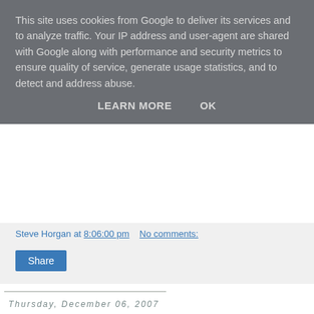This site uses cookies from Google to deliver its services and to analyze traffic. Your IP address and user-agent are shared with Google along with performance and security metrics to ensure quality of service, generate usage statistics, and to detect and address abuse.
LEARN MORE   OK
Steve Horgan at 8:06:00 pm   No comments:
Share
Thursday, December 06, 2007
Labour government hammers Basildon
We got details of the provisional Local Government Finance Settlement this evening, the money that the government gives Basildon Council every year to help fund local services such as our sports centres and rubbish collection. It wasn't very good. The three-year settlement gives Basildon an increase above the CPI measure of inflation of 2% in 2008/9, 1.32% in 2009/10 and 1.55% in 2010/11, which sounds fine